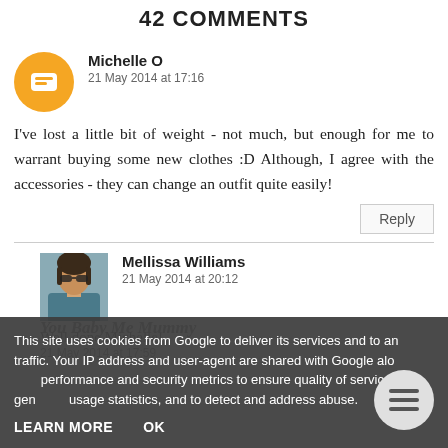42 COMMENTS
Michelle O
21 May 2014 at 17:16
I've lost a little bit of weight - not much, but enough for me to warrant buying some new clothes :D Although, I agree with the accessories - they can change an outfit quite easily!
Mellissa Williams
21 May 2014 at 20:12
Well done Michelle!
You Baby Me Mummy
21 May 2014 at 17:59
This site uses cookies from Google to deliver its services and to analyze traffic. Your IP address and user-agent are shared with Google along with performance and security metrics to ensure quality of service, generate usage statistics, and to detect and address abuse.